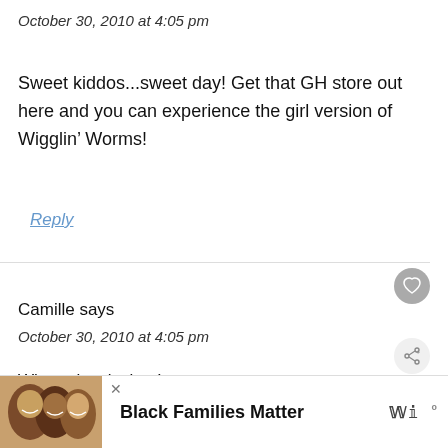October 30, 2010 at 4:05 pm
Sweet kiddos...sweet day! Get that GH store out here and you can experience the girl version of Wigglin’ Worms!
Reply
Camille says
October 30, 2010 at 4:05 pm
What a lovely time!
[Figure (infographic): Ad banner: photo of three smiling people, text 'Black Families Matter', with a W network logo, and a close X button]
[Figure (infographic): WHAT'S NEXT panel: circular photo thumbnail, text 'Weekend: A Great...']